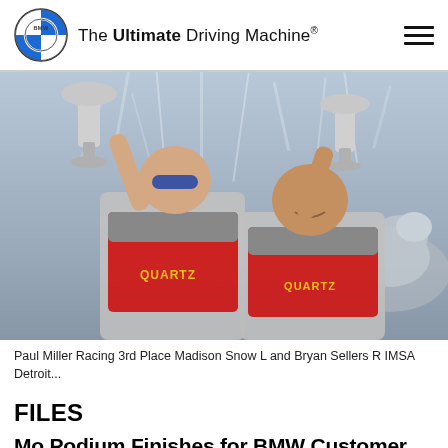The Ultimate Driving Machine®
[Figure (photo): Two racing drivers in red and white QUARTZ racing suits holding trophies aloft, standing in front of a fountain with a stone lion sculpture. Both men are smiling and celebrating.]
Paul Miller Racing 3rd Place Madison Snow L and Bryan Sellers R IMSA Detroit...
FILES
Mo Podium Finishes for BMW Customer Racing Teams in